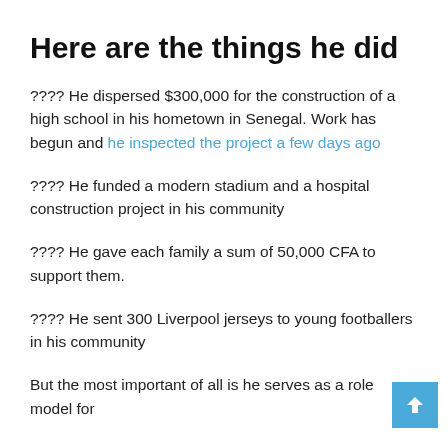Here are the things he did
???? He dispersed $300,000 for the construction of a high school in his hometown in Senegal. Work has begun and he inspected the project a few days ago
???? He funded a modern stadium and a hospital construction project in his community
???? He gave each family a sum of 50,000 CFA to support them.
???? He sent 300 Liverpool jerseys to young footballers in his community
But the most important of all is he serves as a role model for